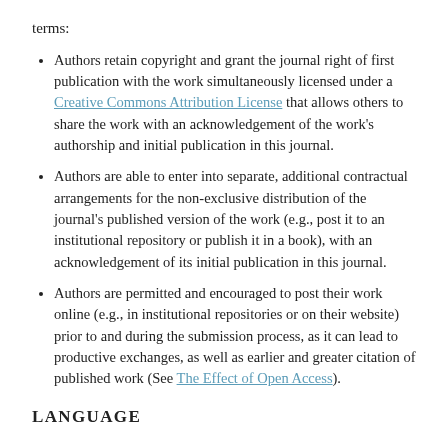terms:
Authors retain copyright and grant the journal right of first publication with the work simultaneously licensed under a Creative Commons Attribution License that allows others to share the work with an acknowledgement of the work's authorship and initial publication in this journal.
Authors are able to enter into separate, additional contractual arrangements for the non-exclusive distribution of the journal's published version of the work (e.g., post it to an institutional repository or publish it in a book), with an acknowledgement of its initial publication in this journal.
Authors are permitted and encouraged to post their work online (e.g., in institutional repositories or on their website) prior to and during the submission process, as it can lead to productive exchanges, as well as earlier and greater citation of published work (See The Effect of Open Access).
LANGUAGE